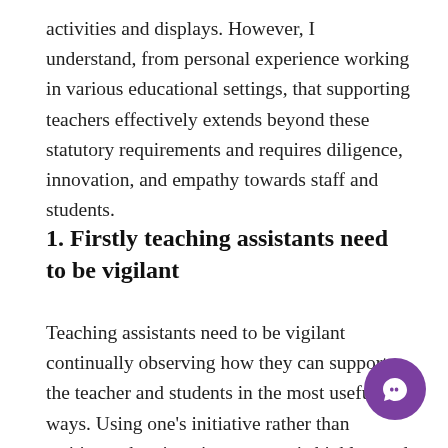activities and displays. However, I understand, from personal experience working in various educational settings, that supporting teachers effectively extends beyond these statutory requirements and requires diligence, innovation, and empathy towards staff and students.
1. Firstly teaching assistants need to be vigilant
Teaching assistants need to be vigilant continually observing how they can support the teacher and students in the most useful ways. Using one's initiative rather than waiting to be given instructions is highly rated by teachers because they can focus on